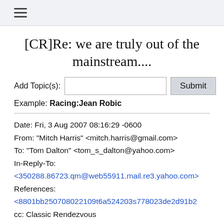☰
[CR]Re: we are truly out of the mainstream....
Add Topic(s): [input] Submit
Example: Racing:Jean Robic
Date: Fri, 3 Aug 2007 08:16:29 -0600
From: "Mitch Harris" <mitch.harris@gmail.com>
To: "Tom Dalton" <tom_s_dalton@yahoo.com>
In-Reply-To:
<350288.86723.qm@web55911.mail.re3.yahoo.com>
References:
<8801bb250708022109t6a524203s778023de2d91b2
cc: Classic Rendezvous